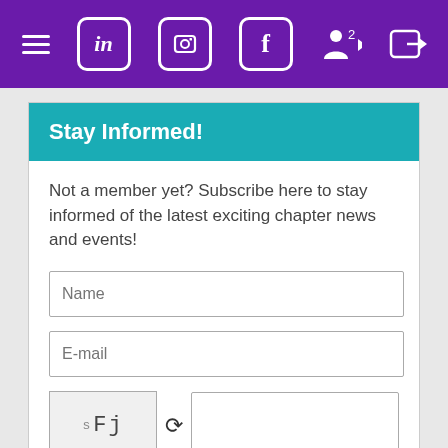Navigation bar with hamburger menu, LinkedIn, Instagram, Facebook, and login icons
Stay Informed!
Not a member yet? Subscribe here to stay informed of the latest exciting chapter news and events!
Name (form field)
E-mail (form field)
[Figure (other): CAPTCHA image showing 'sFj' text with refresh icon and input field]
SUBSCRIBE (button)